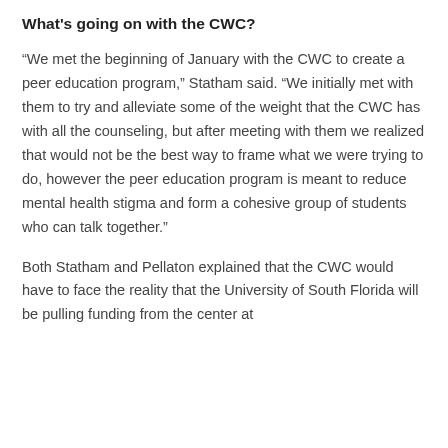What's going on with the CWC?
“We met the beginning of January with the CWC to create a peer education program,” Statham said. “We initially met with them to try and alleviate some of the weight that the CWC has with all the counseling, but after meeting with them we realized that would not be the best way to frame what we were trying to do, however the peer education program is meant to reduce mental health stigma and form a cohesive group of students who can talk together.”
Both Statham and Pellaton explained that the CWC would have to face the reality that the University of South Florida will be pulling funding from the center at